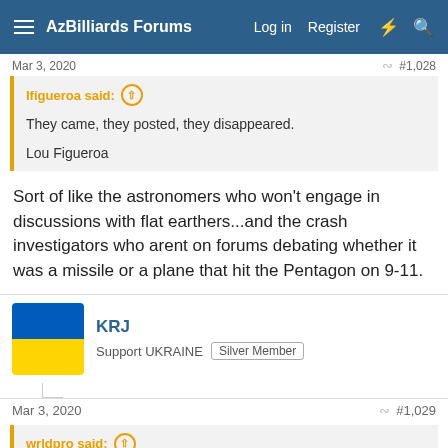AzBilliards Forums — Log in  Register
Mar 3, 2020  #1,028
lfigueroa said:
They came, they posted, they disappeared.

Lou Figueroa
Sort of like the astronomers who won't engage in discussions with flat earthers...and the crash investigators who arent on forums debating whether it was a missile or a plane that hit the Pentagon on 9-11.
KRJ
Support UKRAINE  Silver Member
Mar 3, 2020  #1,029
wrldpro said: